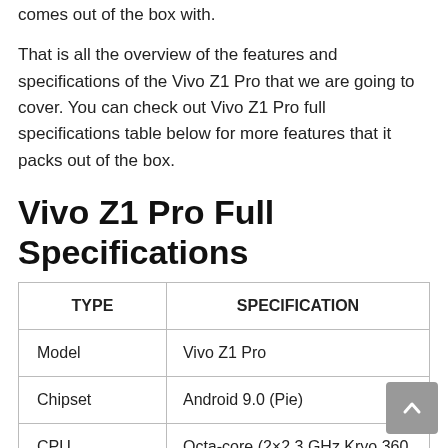comes out of the box with.
That is all the overview of the features and specifications of the Vivo Z1 Pro that we are going to cover. You can check out Vivo Z1 Pro full specifications table below for more features that it packs out of the box.
Vivo Z1 Pro Full Specifications
| TYPE | SPECIFICATION |
| --- | --- |
| Model | Vivo Z1 Pro |
| Chipset | Android 9.0 (Pie) |
| CPU | Octa-core (2×2.3 GHz Kryo 360 Gold & 6×1.7 GHz Kryo |